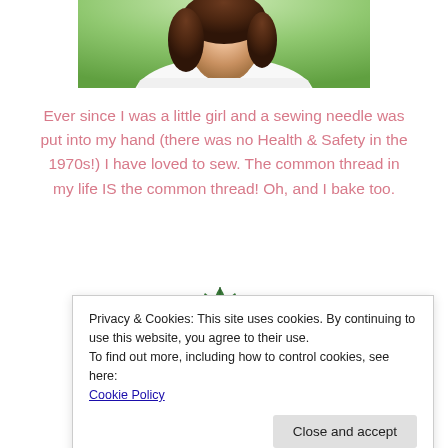[Figure (photo): Partial photo of a woman at the top of the page, cropped, showing shoulders and head area]
Ever since I was a little girl and a sewing needle was put into my hand (there was no Health & Safety in the 1970s!) I have loved to sew. The common thread in my life IS the common thread! Oh, and I bake too.
[Figure (illustration): Decorative illustration with a green leaf/feather motif and colorful small dots and circles (red, pink, teal, gold) — partial, cropped by cookie banner]
Privacy & Cookies: This site uses cookies. By continuing to use this website, you agree to their use.
To find out more, including how to control cookies, see here:
Cookie Policy
Close and accept